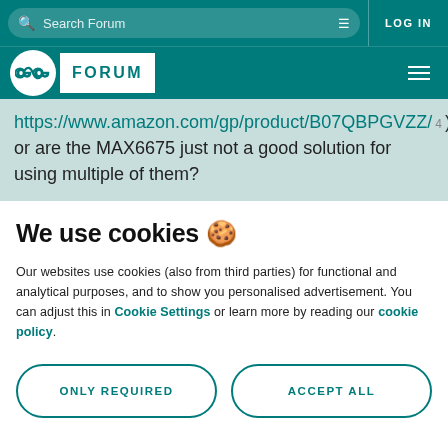Search Forum | LOG IN
Arduino FORUM
https://www.amazon.com/gp/product/B07QBPGVZZ/ 4 ) or are the MAX6675 just not a good solution for using multiple of them?
We use cookies 🍪
Our websites use cookies (also from third parties) for functional and analytical purposes, and to show you personalised advertisement. You can adjust this in Cookie Settings or learn more by reading our cookie policy.
ONLY REQUIRED
ACCEPT ALL